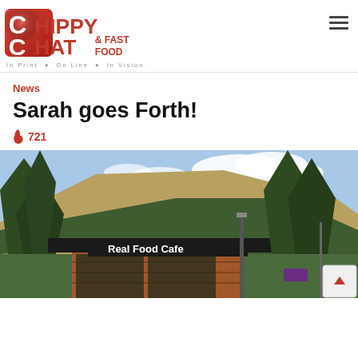[Figure (logo): Chippy Chat & Fast Food magazine logo with tagline 'In Print • On Line • In Vision']
News
Sarah goes Forth!
🔥 721
[Figure (photo): Exterior photo of 'Real Food Cafe' building with wooded hillside and mountain in background under partly cloudy sky]